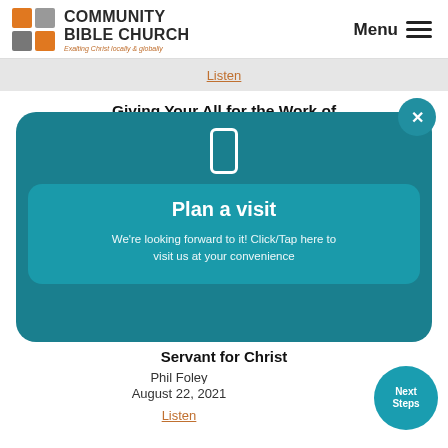[Figure (logo): Community Bible Church logo with orange and gray squares icon and tagline 'Exalting Christ locally & globally']
Menu ☰
Listen
Giving Your All for the Work of Christ
Phil Foley
[Figure (infographic): Teal modal overlay with phone icon, title 'Plan a visit', text 'We're looking forward to it! Click/Tap here to visit us at your convenience', and X close button]
How You Become a More Useful Servant for Christ
Phil Foley
August 22, 2021
Listen
Next Steps